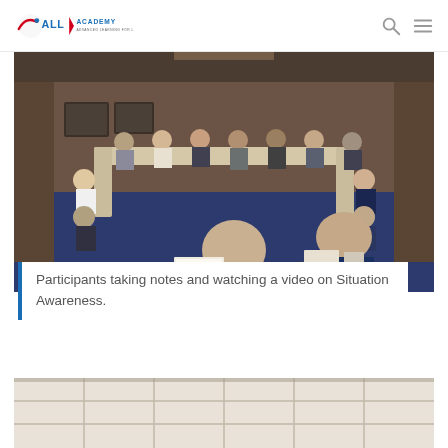ALL ACADEMY — Advanced Learning For Life
[Figure (photo): Participants seated around tables in a conference room, taking notes and watching a video on Situation Awareness. A group of approximately 15 adults are arranged in a U-shape around folding tables on a blue carpet.]
Participants taking notes and watching a video on Situation Awareness.
[Figure (photo): Bottom partial view of another room or training setting with white panels or boards visible.]